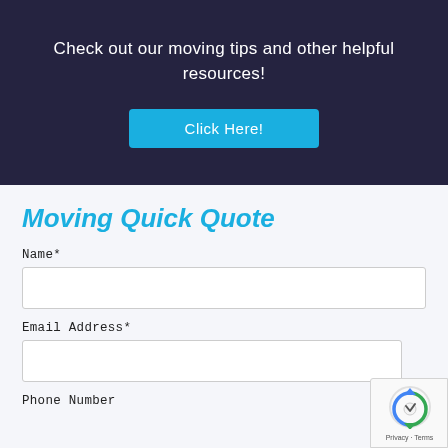Check out our moving tips and other helpful resources!
[Figure (screenshot): Blue 'Click Here!' button on dark background]
Moving Quick Quote
Name*
Email Address*
Phone Number